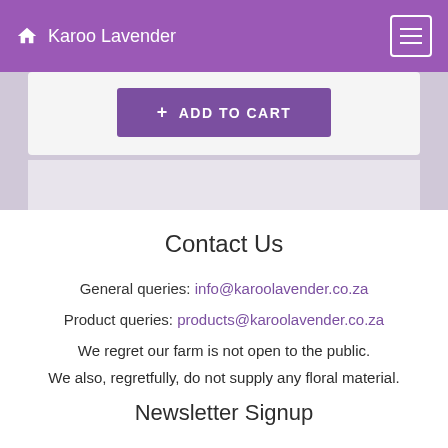Karoo Lavender
+ ADD TO CART
Contact Us
General queries: info@karoolavender.co.za
Product queries: products@karoolavender.co.za
We regret our farm is not open to the public.
We also, regretfully, do not supply any floral material.
Newsletter Signup